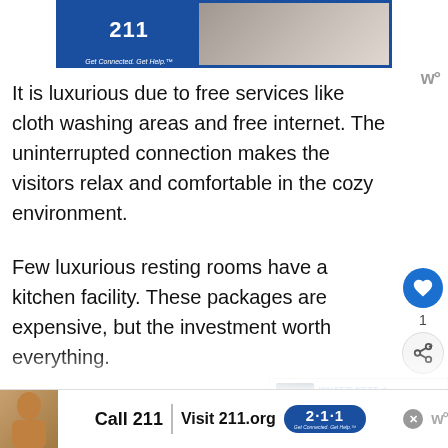[Figure (illustration): Top banner advertisement showing '211 Get Connected. Get Help.' logo on blue background with a hand/person image on the right.]
It is luxurious due to free services like cloth washing areas and free internet. The uninterrupted connection makes the visitors relax and comfortable in the cozy environment.
Few luxurious resting rooms have a kitchen facility. These packages are expensive, but the investment worth everything.
The equipment of these vast rooms is magnificent. It also allows the entrance of challenged people and provides wheelchair tra...
[Figure (illustration): Bottom banner advertisement: Call 211 | Visit 211.org with 2·1·1 logo bubble. Person with headset on left.]